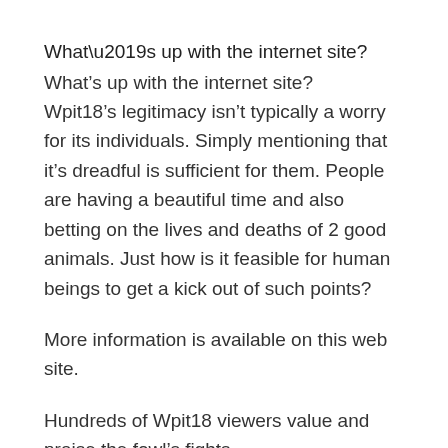What’s up with the internet site?
Wpit18’s legitimacy isn’t typically a worry for its individuals. Simply mentioning that it’s dreadful is sufficient for them. People are having a beautiful time and also betting on the lives and deaths of 2 good animals. Just how is it feasible for human beings to get a kick out of such points?
More information is available on this web site.
Hundreds of Wpit18 viewers value and praise the fowl’s fights.
Depending upon the seriousness of his injuries, the fowl that doesn’t work out may either die from several